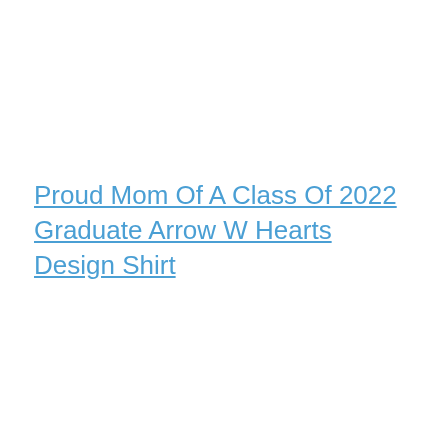Proud Mom Of A Class Of 2022 Graduate Arrow W Hearts Design Shirt